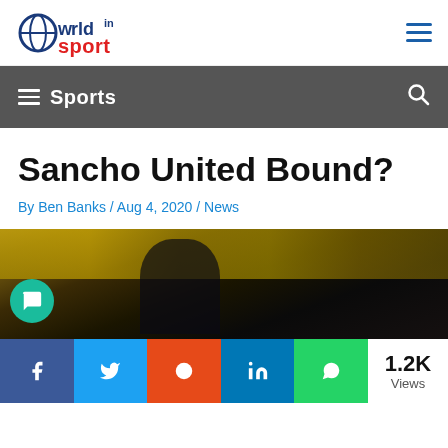World in Sport
Sports
Sancho United Bound?
By Ben Banks / Aug 4, 2020 / News
[Figure (photo): Photo of Jadon Sancho in a dark kit with blurred crowd background, likely in a Borussia Dortmund match setting]
Share buttons: Facebook, Twitter, Reddit, LinkedIn, WhatsApp. 1.2K Views